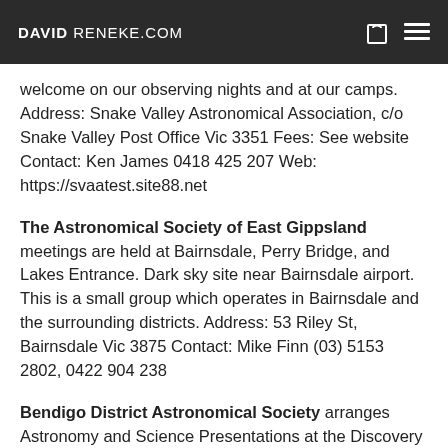DAVID RENEKE.COM
welcome on our observing nights and at our camps. Address: Snake Valley Astronomical Association, c/o Snake Valley Post Office Vic 3351 Fees: See website Contact: Ken James 0418 425 207 Web: https://svaatest.site88.net
The Astronomical Society of East Gippsland meetings are held at Bairnsdale, Perry Bridge, and Lakes Entrance. Dark sky site near Bairnsdale airport. This is a small group which operates in Bairnsdale and the surrounding districts. Address: 53 Riley St, Bairnsdale Vic 3875 Contact: Mike Finn (03) 5153 2802, 0422 904 238
Bendigo District Astronomical Society arranges Astronomy and Science Presentations at the Discovery Centre, Bendigo, 7:30 pm, on the first Wednesday of each month. The club publishes a monthly newsletter. It holds regular